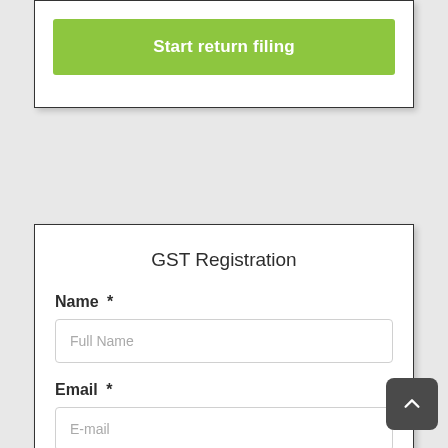[Figure (screenshot): Green 'Start return filing' button inside a white card with border and shadow]
GST Registration
Name *
Full Name
Email *
E-mail